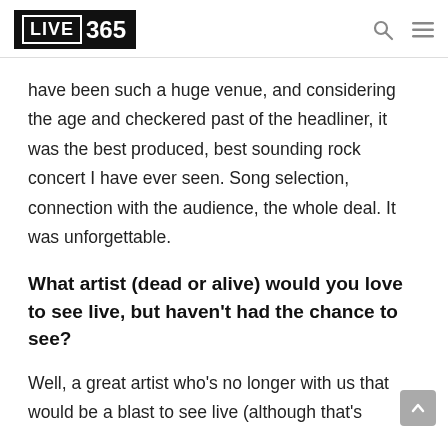LIVE 365
have been such a huge venue, and considering the age and checkered past of the headliner, it was the best produced, best sounding rock concert I have ever seen. Song selection, connection with the audience, the whole deal. It was unforgettable.
What artist (dead or alive) would you love to see live, but haven't had the chance to see?
Well, a great artist who's no longer with us that would be a blast to see live (although that's